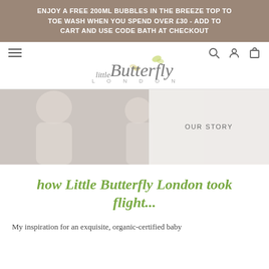ENJOY A FREE 200ML BUBBLES IN THE BREEZE TOP TO TOE WASH WHEN YOU SPEND OVER £30 - ADD TO CART AND USE CODE BATH AT CHECKOUT
[Figure (logo): Little Butterfly London logo with butterfly illustrations and cursive/script typography]
[Figure (photo): Hero image of a woman and baby with 'OUR STORY' text overlay on a light background panel]
how Little Butterfly London took flight...
My inspiration for an exquisite, organic-certified baby